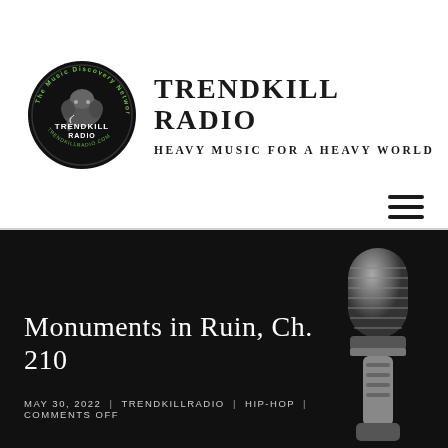[Figure (logo): Trendkill Radio circular logo — black circle with elephant illustration and text 'The Music Discovery Network', 'TRENDKILL RADIO', 'TRENDKILLRADIO.COM' around the border]
TRENDKILL RADIO
HEAVY MUSIC FOR A HEAVY WORLD
[Figure (illustration): Hamburger menu icon — three horizontal black lines]
Monuments in Ruin, Ch. 210
MAY 30, 2022 | TRENDKILLRADIO | HIP-HOP | COMMENTS OFF
[Figure (photo): Partial photo of a vintage silver microphone, bottom-right of dark section]